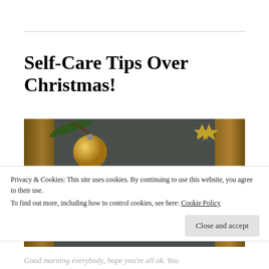Self-Care Tips Over Christmas!
[Figure (photo): A chalkboard sign with Christmas decorations showing 'practice SELF CARE' text, with a gold ornament, pine branches, and glittery gold stars.]
Privacy & Cookies: This site uses cookies. By continuing to use this website, you agree to their use.
To find out more, including how to control cookies, see here: Cookie Policy
Close and accept
Good morning everybody, hope you're all ok. You